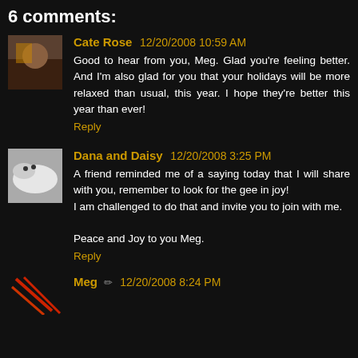6 comments:
Cate Rose 12/20/2008 10:59 AM
Good to hear from you, Meg. Glad you're feeling better. And I'm also glad for you that your holidays will be more relaxed than usual, this year. I hope they're better this year than ever!
Reply
Dana and Daisy 12/20/2008 3:25 PM
A friend reminded me of a saying today that I will share with you, remember to look for the gee in joy!
I am challenged to do that and invite you to join with me.

Peace and Joy to you Meg.
Reply
Meg 12/20/2008 8:24 PM